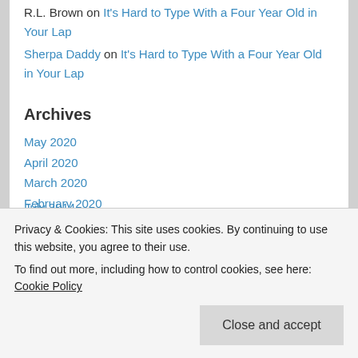R.L. Brown on It's Hard to Type With a Four Year Old in Your Lap
Sherpa Daddy on It's Hard to Type With a Four Year Old in Your Lap
Archives
May 2020
April 2020
March 2020
February 2020
January 2020
January 2019
January 2016
Privacy & Cookies: This site uses cookies. By continuing to use this website, you agree to their use.
To find out more, including how to control cookies, see here: Cookie Policy
July 2014